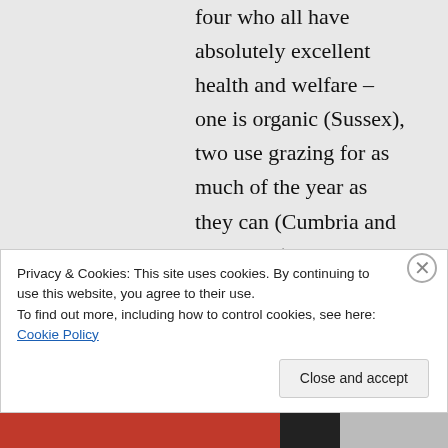four who all have absolutely excellent health and welfare – one is organic (Sussex), two use grazing for as much of the year as they can (Cumbria and W Sussex), and the other has a very large housed operation (Somerset). While it's easy to suggest that there's an ideal system, in my experience there really isn't. Finally, we still face a dichotomy, as I discussed. If we really care about individual sentient beings, how do we reconcile that
Privacy & Cookies: This site uses cookies. By continuing to use this website, you agree to their use.
To find out more, including how to control cookies, see here: Cookie Policy